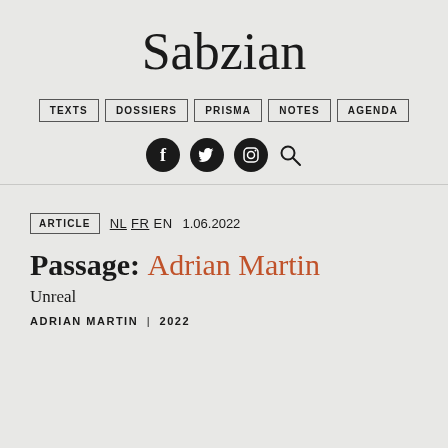Sabzian
TEXTS | DOSSIERS | PRISMA | NOTES | AGENDA
[Figure (other): Social media icons: Facebook, Twitter, Instagram, and a search magnifying glass icon]
ARTICLE   NL FR EN   1.06.2022
Passage: Adrian Martin
Unreal
ADRIAN MARTIN | 2022